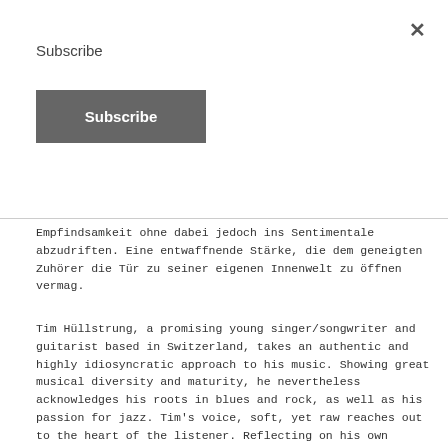×
Subscribe
Subscribe
Empfindsamkeit ohne dabei jedoch ins Sentimentale abzudriften. Eine entwaffnende Stärke, die dem geneigten Zuhörer die Tür zu seiner eigenen Innenwelt zu öffnen vermag.
Tim Hüllstrung, a promising young singer/songwriter and guitarist based in Switzerland, takes an authentic and highly idiosyncratic approach to his music. Showing great musical diversity and maturity, he nevertheless acknowledges his roots in blues and rock, as well as his passion for jazz. Tim's voice, soft, yet raw reaches out to the heart of the listener. Reflecting on his own experiences, and perceptions of the world, his songs tell stories, both personal and universal, that strike a chord in all who listen. His versatile guitar playing creates a colorful musical soundscape that underlines his songwriting with a creative blend of musical styles. His first recording, Bird of Passage, which superbly showcases Tim's versatile playing and sensitive, authentic style, was supported by fellow musicians